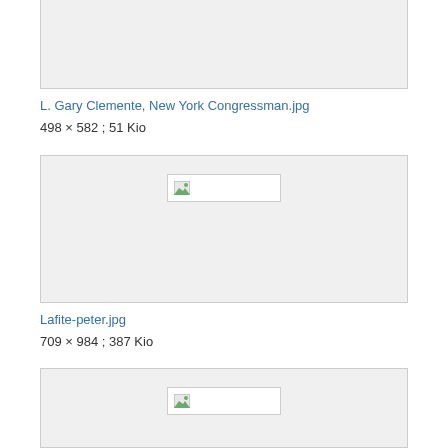[Figure (photo): Top image box (truncated at top of page), showing a gray placeholder area]
L. Gary Clemente, New York Congressman.jpg
498 × 582 ; 51 Kio
[Figure (photo): Broken image placeholder centered in gray box for Lafite-peter.jpg]
Lafite-peter.jpg
709 × 984 ; 387 Kio
[Figure (photo): Broken image placeholder centered in gray box, third image partially visible]